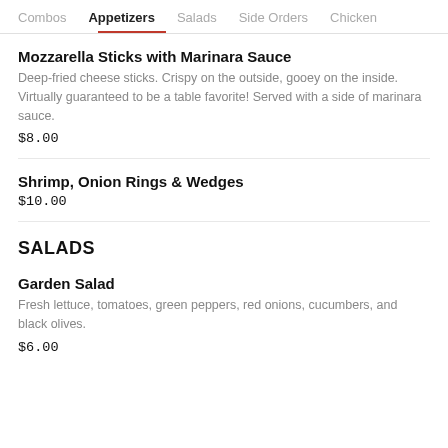Combos  Appetizers  Salads  Side Orders  Chicken
Mozzarella Sticks with Marinara Sauce
Deep-fried cheese sticks. Crispy on the outside, gooey on the inside. Virtually guaranteed to be a table favorite! Served with a side of marinara sauce.
$8.00
Shrimp, Onion Rings & Wedges
$10.00
SALADS
Garden Salad
Fresh lettuce, tomatoes, green peppers, red onions, cucumbers, and black olives.
$6.00